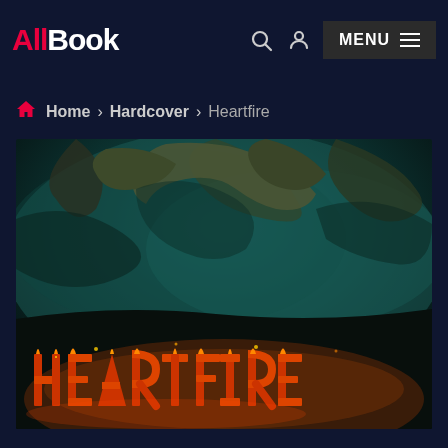AllBook — MENU
Home > Hardcover > Heartfire
[Figure (illustration): Book cover of 'Heartfire' showing a dramatic dark fantasy scene with rocky cave/landscape, teal-green smoky atmosphere, and the title 'HEARTFIRE' spelled out in large fiery burning letters at the bottom.]